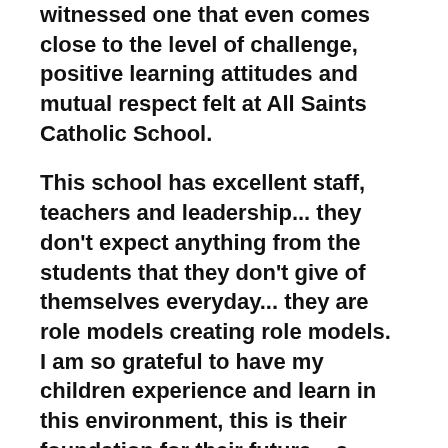witnessed one that even comes close to the level of challenge, positive learning attitudes and mutual respect felt at All Saints Catholic School.
This school has excellent staff, teachers and leadership... they don't expect anything from the students that they don't give of themselves everyday... they are role models creating role models. I am so grateful to have my children experience and learn in this environment, this is their foundation for their future... a priceless gift!"